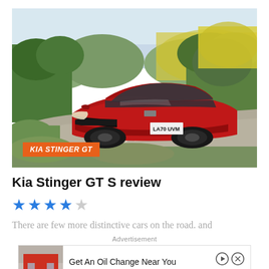[Figure (photo): Red Kia Stinger GT sports car driving on a winding rural road, surrounded by green hedgerows and yellow flowering trees. License plate reads LA70 UVM. Orange badge overlay reads KIA STINGER GT.]
Kia Stinger GT S review
★★★★☆ (4 out of 5 stars)
There are few more distinctive cars on the road. and
Advertisement
Ad  Get An Oil Change Near You  Firestone  Learn More